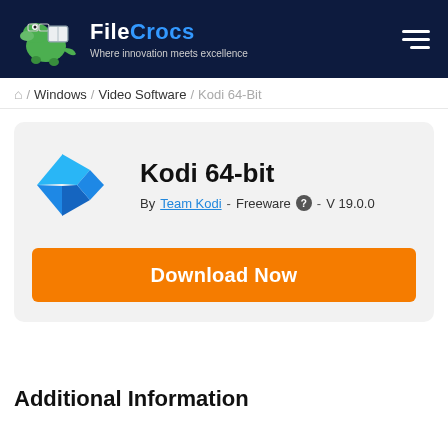FileCrocs — Where innovation meets excellence
/ Windows / Video Software / Kodi 64-Bit
Kodi 64-bit
By Team Kodi - Freeware - V 19.0.0
Download Now
Additional Information